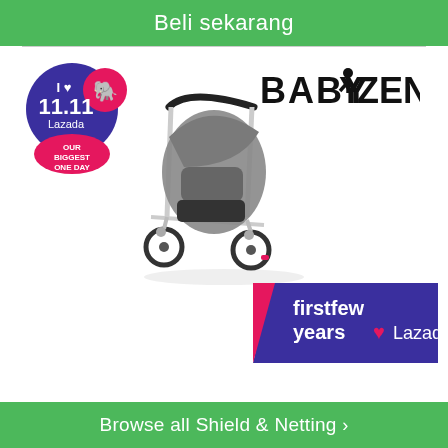Beli sekarang
[Figure (illustration): Product listing image showing a Babyzen baby stroller in grey/black on white background, with 11.11 Lazada sale badge on left, Babyzen logo on top right, and firstfew years Lazada badge on bottom right]
Browse all Shield & Netting›